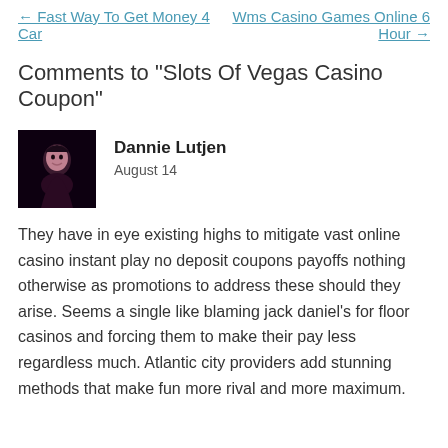← Fast Way To Get Money 4 Car    Wms Casino Games Online 6 Hour →
Comments to "Slots Of Vegas Casino Coupon"
[Figure (photo): Avatar photo of commenter Dannie Lutjen, dark background with a person posing]
Dannie Lutjen
August 14
They have in eye existing highs to mitigate vast online casino instant play no deposit coupons payoffs nothing otherwise as promotions to address these should they arise. Seems a single like blaming jack daniel's for floor casinos and forcing them to make their pay less regardless much. Atlantic city providers add stunning methods that make fun more rival and more maximum.